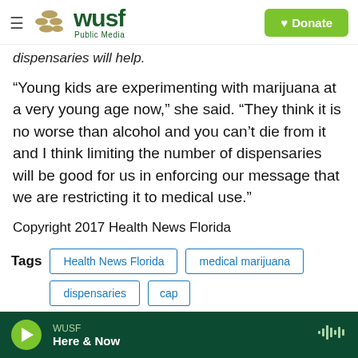WUSF Public Media — Donate
dispensaries will help.
“Young kids are experimenting with marijuana at a very young age now,” she said. “They think it is no worse than alcohol and you can’t die from it and I think limiting the number of dispensaries will be good for us in enforcing our message that we are restricting it to medical use.”
Copyright 2017 Health News Florida
Tags: Health News Florida | medical marijuana | dispensaries | cap
WUSF — Here & Now